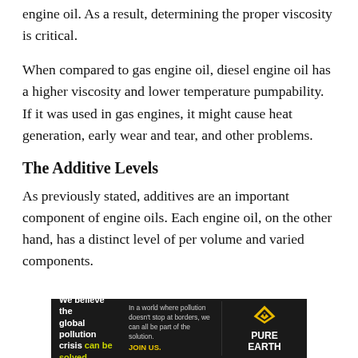engine oil. As a result, determining the proper viscosity is critical.
When compared to gas engine oil, diesel engine oil has a higher viscosity and lower temperature pumpability. If it was used in gas engines, it might cause heat generation, early wear and tear, and other problems.
The Additive Levels
As previously stated, additives are an important component of engine oils. Each engine oil, on the other hand, has a distinct level of per volume and varied components.
[Figure (other): Advertisement banner for Pure Earth: 'We believe the global pollution crisis can be solved.' with tagline 'In a world where pollution doesn't stop at borders, we can all be part of the solution. JOIN US.' and the Pure Earth logo.]